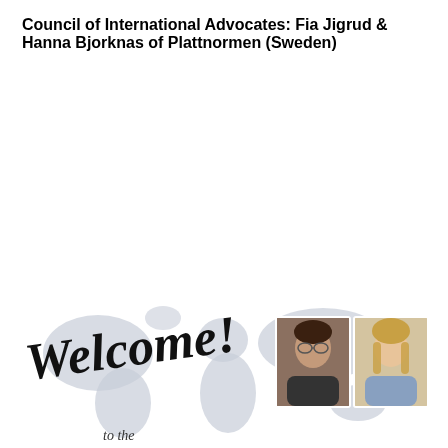Council of International Advocates: Fia Jigrud & Hanna Bjorknas of Plattnormen (Sweden)
[Figure (photo): Welcome banner image with world map background, cursive 'Welcome!' text, 'to the' text below, and two portrait photos of Fia Jigrud and Hanna Bjorknas on the right side.]